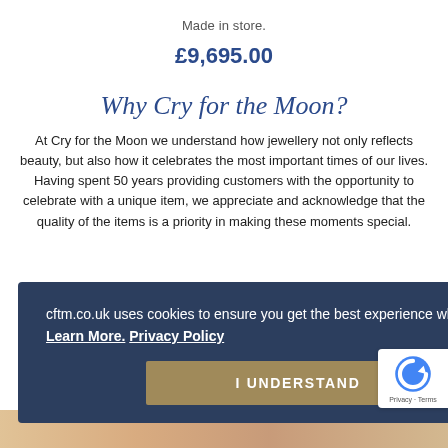Made in store.
£9,695.00
Why Cry for the Moon?
At Cry for the Moon we understand how jewellery not only reflects beauty, but also how it celebrates the most important times of our lives. Having spent 50 years providing customers with the opportunity to celebrate with a unique item, we appreciate and acknowledge that the quality of the items is a priority in making these moments special.
cftm.co.uk uses cookies to ensure you get the best experience whilst browsing. Learn More. Privacy Policy
I UNDERSTAND